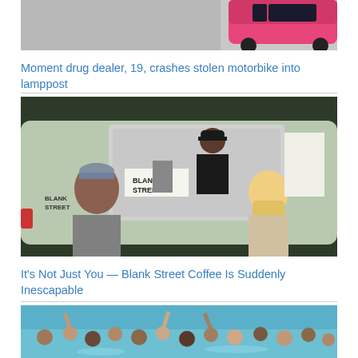[Figure (photo): Partial view of a pink car on a grey road surface, cropped at top of page]
Moment drug dealer, 19, crashes stolen motorbike into lamppost
[Figure (photo): A Blank Street Coffee food truck/trailer with a barista serving two female customers outdoors]
It's Not Just You — Blank Street Coffee Is Suddenly Inescapable
[Figure (photo): Crowd of people in a swimming pool, partially visible at bottom of page]